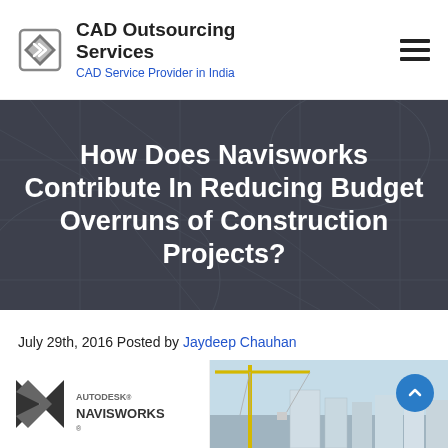CAD Outsourcing Services — CAD Service Provider in India
How Does Navisworks Contribute In Reducing Budget Overruns of Construction Projects?
July 29th, 2016 Posted by Jaydeep Chauhan
[Figure (photo): Autodesk Navisworks logo on left with a construction site aerial render showing a yellow tower crane and building models on the right, under a light blue sky.]